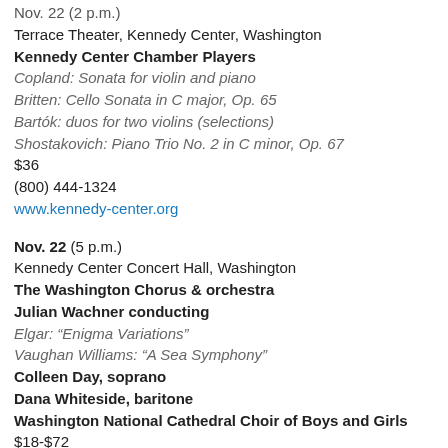Nov. 22 (2 p.m.)
Terrace Theater, Kennedy Center, Washington
Kennedy Center Chamber Players
Copland: Sonata for violin and piano
Britten: Cello Sonata in C major, Op. 65
Bartók: duos for two violins (selections)
Shostakovich: Piano Trio No. 2 in C minor, Op. 67
$36
(800) 444-1324
www.kennedy-center.org
Nov. 22 (5 p.m.)
Kennedy Center Concert Hall, Washington
The Washington Chorus & orchestra
Julian Wachner conducting
Elgar: “Enigma Variations”
Vaughan Williams: “A Sea Symphony”
Colleen Day, soprano
Dana Whiteside, baritone
Washington National Cathedral Choir of Boys and Girls
$18-$72
(800) 444-1324
www.kennedy-center.org